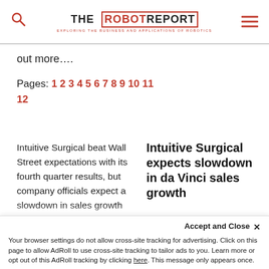THE ROBOT REPORT — EXPLORING THE BUSINESS AND APPLICATIONS OF ROBOTICS
out more….
Pages: 1 2 3 4 5 6 7 8 9 10 11 12
Intuitive Surgical beat Wall Street expectations with its fourth quarter results, but company officials expect a slowdown in sales growth this year for da Vinci surgical robots. Intuitive Surgical
Intuitive Surgical expects slowdown in da Vinci sales growth
Accept and Close ✕
Your browser settings do not allow cross-site tracking for advertising. Click on this page to allow AdRoll to use cross-site tracking to tailor ads to you. Learn more or opt out of this AdRoll tracking by clicking here. This message only appears once.